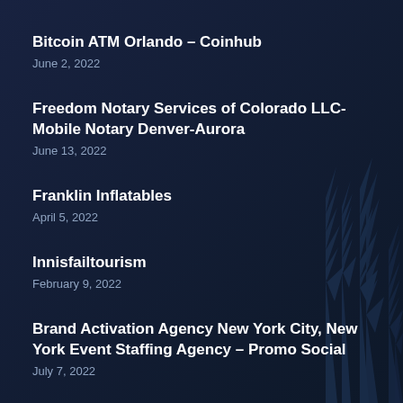Bitcoin ATM Orlando – Coinhub
June 2, 2022
Freedom Notary Services of Colorado LLC- Mobile Notary Denver-Aurora
June 13, 2022
Franklin Inflatables
April 5, 2022
Innisfailtourism
February 9, 2022
Brand Activation Agency New York City, New York Event Staffing Agency – Promo Social
July 7, 2022